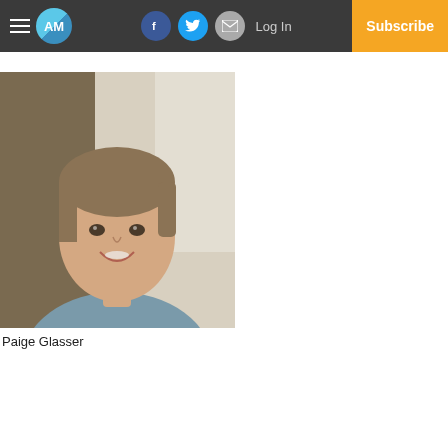AM | Log In | Subscribe
[Figure (photo): Portrait photo of Paige Glasser, a young woman with short brown hair wearing a blue-grey t-shirt, smiling, photographed indoors]
Paige Glasser